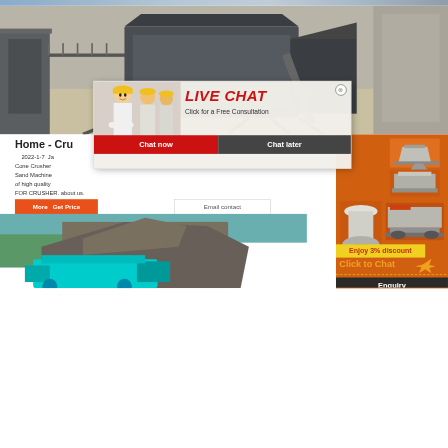[Figure (photo): Thin top strip showing industrial machinery/site]
[Figure (photo): Large industrial crusher machine at a quarry site, aerial/side view showing large metal crushing equipment mounted on steel frame structure]
Home - Cru
2022-1-7  Ja Cone Crusher Sand Machine of high quality FOR CRUSHER. about us.
[Figure (screenshot): Live Chat popup overlay with workers in hard hats. Contains LIVE CHAT heading, 'Click for a Free Consultation', 'Chat now' (red button) and 'Chat later' (dark button). Close X button top right.]
[Figure (photo): Orange sidebar panel with crusher/mining equipment product images]
Enjoy 3% discount
Click to Chat
Enquiry
[Figure (photo): Rocky cliff/quarry landscape with cyan/teal colored crusher machine equipment in foreground]